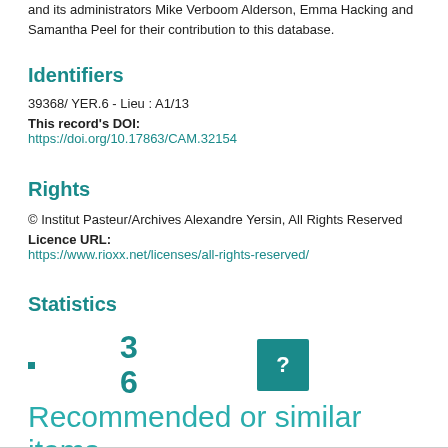and its administrators Mike Verboom Alderson, Emma Hacking and Samantha Peel for their contribution to this database.
Identifiers
39368/ YER.6 - Lieu : A1/13
This record's DOI:
https://doi.org/10.17863/CAM.32154
Rights
© Institut Pasteur/Archives Alexandre Yersin, All Rights Reserved
Licence URL:
https://www.rioxx.net/licenses/all-rights-reserved/
Statistics
■ 3 6 [?]
Recommended or similar items